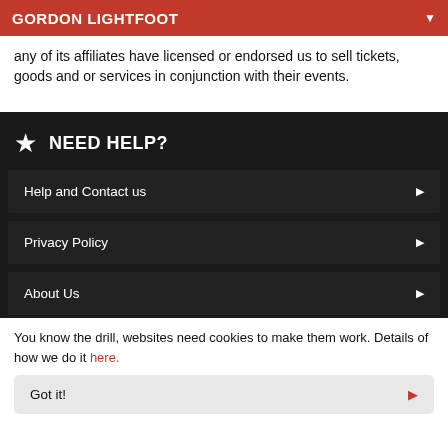GORDON LIGHTFOOT
any of its affiliates have licensed or endorsed us to sell tickets, goods and or services in conjunction with their events.
NEED HELP?
Help and Contact us
Privacy Policy
About Us
Cookie Policy
You know the drill, websites need cookies to make them work. Details of how we do it here.
Got it!